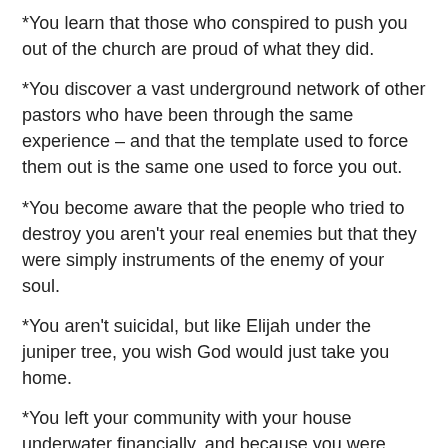*You learn that those who conspired to push you out of the church are proud of what they did.
*You discover a vast underground network of other pastors who have been through the same experience – and that the template used to force them out is the same one used to force you out.
*You become aware that the people who tried to destroy you aren't your real enemies but that they were simply instruments of the enemy of your soul.
*You aren't suicidal, but like Elijah under the juniper tree, you wish God would just take you home.
*You left your community with your house underwater financially, and because you were forced to sell at a loss, your credit has been decimated.